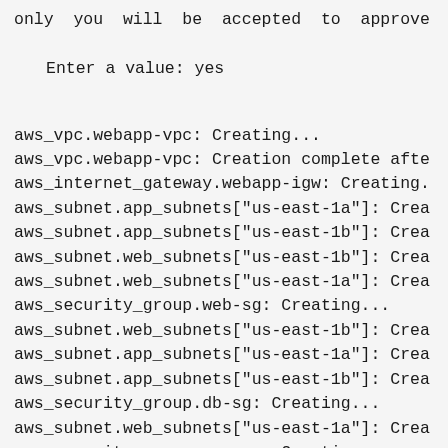only yes will be accepted to approve.
Enter a value: yes
aws_vpc.webapp-vpc: Creating...
aws_vpc.webapp-vpc: Creation complete afte
aws_internet_gateway.webapp-igw: Creating.
aws_subnet.app_subnets["us-east-1a"]: Crea
aws_subnet.app_subnets["us-east-1b"]: Crea
aws_subnet.web_subnets["us-east-1b"]: Crea
aws_subnet.web_subnets["us-east-1a"]: Crea
aws_security_group.web-sg: Creating...
aws_subnet.web_subnets["us-east-1b"]: Crea
aws_subnet.app_subnets["us-east-1a"]: Crea
aws_subnet.app_subnets["us-east-1b"]: Crea
aws_security_group.db-sg: Creating...
aws_subnet.web_subnets["us-east-1a"]: Crea
aws_security_group.app-sg: Creating...
aws_internet_gateway.webapp-igw: Creation